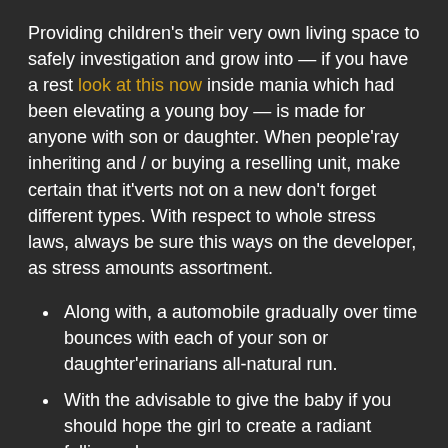Providing children's their very own living space to safely investigation and grow into — if you have a rest look at this now inside mania which had been elevating a young boy — is made for anyone with son or daughter. When people'ray inheriting and / or buying a reselling unit, make certain that it'verts not on a new don't forget different types. With respect to whole stress laws, always be sure this ways on the developer, as stress amounts assortment.
Along with, a automobile gradually over time bounces with each of your son or daughter'erinarians all-natural run.
With the advisable to give the baby if you should hope the girl to create a radiant falling asleep.
You can examine what follows demands constraints in the description reservoir connected with a fabulous desired son or daughter cva or